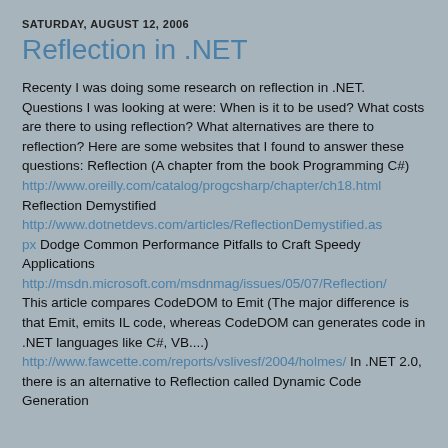SATURDAY, AUGUST 12, 2006
Reflection in .NET
Recenty I was doing some research on reflection in .NET. Questions I was looking at were: When is it to be used? What costs are there to using reflection? What alternatives are there to reflection? Here are some websites that I found to answer these questions: Reflection (A chapter from the book Programming C#) http://www.oreilly.com/catalog/progcsharp/chapter/ch18.html Reflection Demystified http://www.dotnetdevs.com/articles/ReflectionDemystified.aspx Dodge Common Performance Pitfalls to Craft Speedy Applications http://msdn.microsoft.com/msdnmag/issues/05/07/Reflection/ This article compares CodeDOM to Emit (The major difference is that Emit, emits IL code, whereas CodeDOM can generates code in .NET languages like C#, VB....) http://www.fawcette.com/reports/vslivesf/2004/holmes/ In .NET 2.0, there is an alternative to Reflection called Dynamic Code Generation (not full-blown Emit) This article